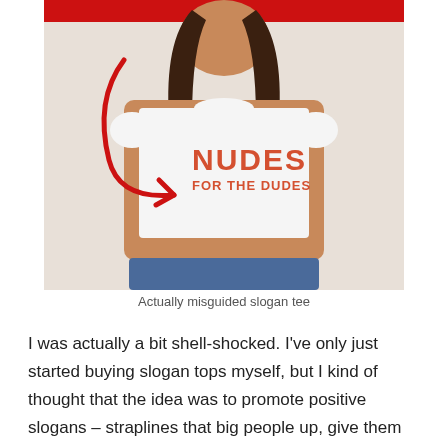[Figure (photo): Photo of a woman wearing a white crop t-shirt with orange text reading 'NUDES FOR THE DUDES'. A red hand-drawn arrow annotation points to the shirt's slogan. There is a red banner/bar at the top of the image.]
Actually misguided slogan tee
I was actually a bit shell-shocked. I've only just started buying slogan tops myself, but I kind of thought that the idea was to promote positive slogans – straplines that big people up, give them confidence,